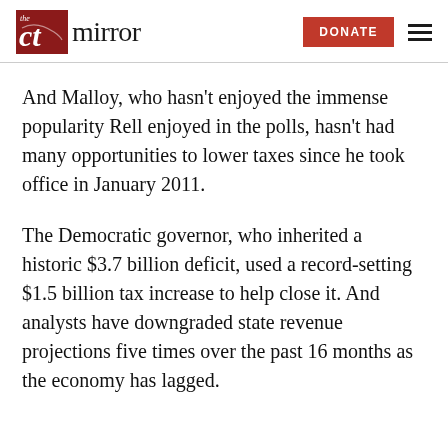The CT Mirror — DONATE
And Malloy, who hasn't enjoyed the immense popularity Rell enjoyed in the polls, hasn't had many opportunities to lower taxes since he took office in January 2011.
The Democratic governor, who inherited a historic $3.7 billion deficit, used a record-setting $1.5 billion tax increase to help close it. And analysts have downgraded state revenue projections five times over the past 16 months as the economy has lagged.